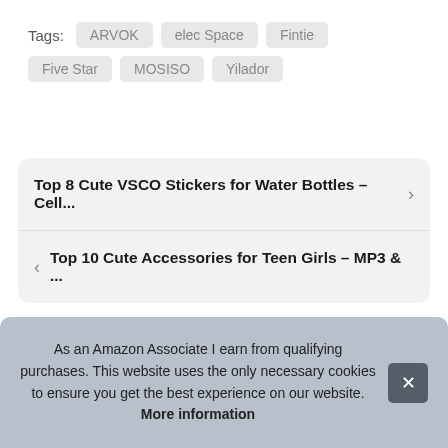Tags: ARVOK  elec Space  Fintie  Five Star  MOSISO  Yilador
Top 8 Cute VSCO Stickers for Water Bottles – Cell...
Top 10 Cute Accessories for Teen Girls – MP3 & ...
As an Amazon Associate I earn from qualifying purchases. This website uses the only necessary cookies to ensure you get the best experience on our website. More information